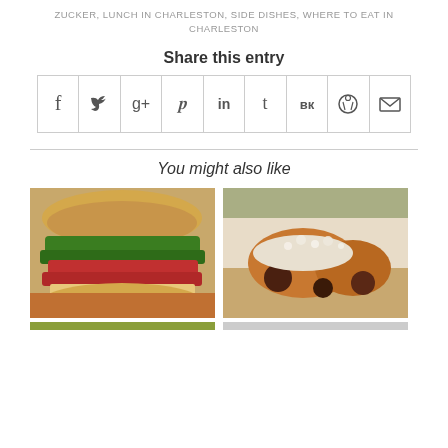ZUCKER, LUNCH IN CHARLESTON, SIDE DISHES, WHERE TO EAT IN CHARLESTON
Share this entry
[Figure (infographic): Row of 9 social share icon cells in a bordered grid: Facebook (f), Twitter (bird), Google+ (g+), Pinterest (p), LinkedIn (in), Tumblr (t), VK (vk), Reddit (alien), Email (envelope)]
You might also like
[Figure (photo): Photo of a sandwich with greens, tomato, and other fillings on a roll]
[Figure (photo): Photo of fried food items topped with crumbled white cheese on a white plate]